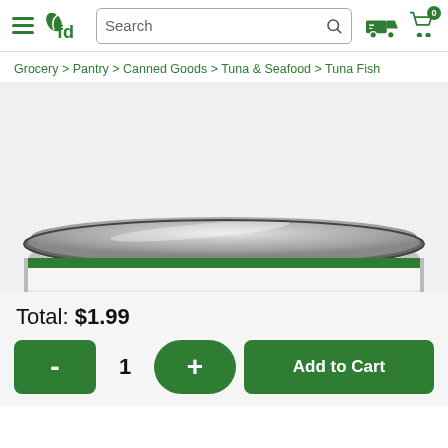fd [logo] Search [search bar] [delivery truck icon] [cart icon, 0 items]
Grocery > Pantry > Canned Goods > Tuna & Seafood > Tuna Fish
[Figure (photo): Close-up photo of the top of a metal tuna fish can with a green-striped rim against a light gray background]
Total: $1.99
- 1 + Add to Cart